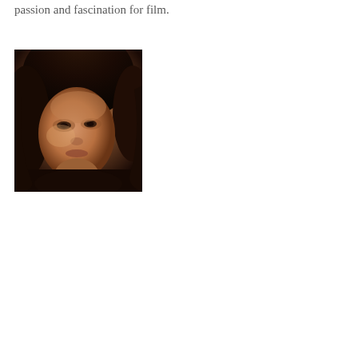passion and fascination for film.
[Figure (photo): Portrait photograph of a woman with dark hair, close-up face shot with warm tones, looking slightly upward]